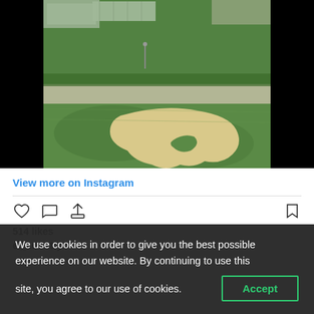[Figure (photo): Aerial view of a golf course with a sand bunker in an irregular shape on green grass, with buildings and structures visible in the background. Black borders on left and right sides.]
View more on Instagram
514 likes
el_country
We use cookies in order to give you the best possible experience on our website. By continuing to use this site, you agree to our use of cookies.
Accept